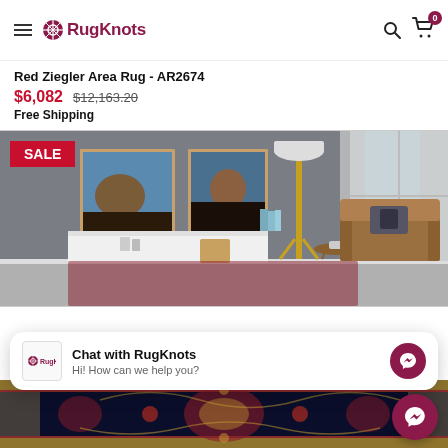RugKnots — Navigation bar with hamburger menu, logo, search and cart (0 items)
Red Ziegler Area Rug - AR2674
$6,082  $12,163.20
Free Shipping
[Figure (photo): Living room interior with gray textured wall, framed landscape artworks, a floor lamp, an armchair, side table, and a red Ziegler area rug on the floor. A red SALE badge is in the top-left corner of the image.]
Chat with RugKnots
Hi! How can we help you?
[Figure (photo): Close-up of a dark navy blue Ziegler area rug AR2674 with intricate floral and medallion patterns in red, cream, and gold colors.]